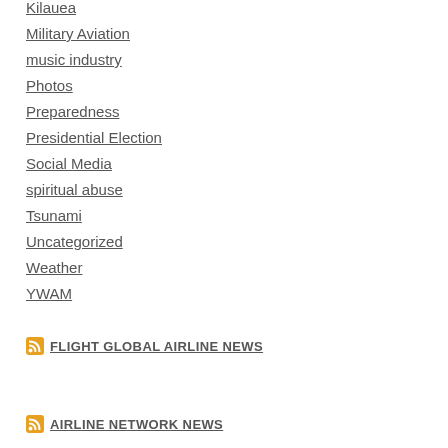Kilauea
Military Aviation
music industry
Photos
Preparedness
Presidential Election
Social Media
spiritual abuse
Tsunami
Uncategorized
Weather
YWAM
FLIGHT GLOBAL AIRLINE NEWS
AIRLINE NETWORK NEWS